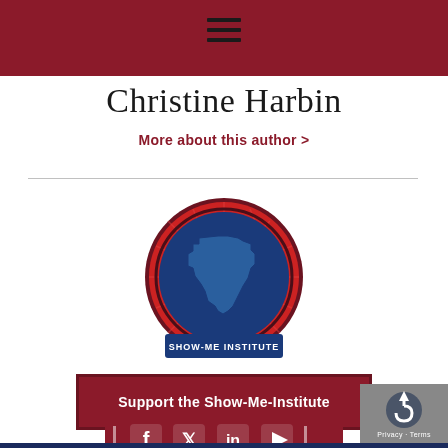Christine Harbin
More about this author >
[Figure (logo): Show-Me Institute circular logo with Missouri state silhouette in blue on red background with banner reading SHOW-ME INSTITUTE]
Support the Show-Me-Institute
[Figure (other): Social media icons bar with Facebook, Twitter, LinkedIn, and YouTube icons on dark red background]